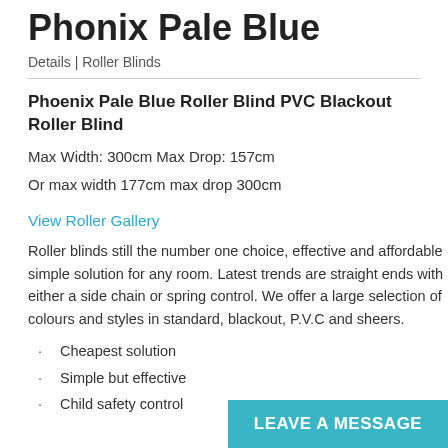Phonix Pale Blue
Details | Roller Blinds
Phoenix Pale Blue Roller Blind PVC Blackout Roller Blind
Max Width: 300cm Max Drop: 157cm
Or max width 177cm max drop 300cm
View Roller Gallery
Roller blinds still the number one choice, effective and affordable simple solution for any room. Latest trends are straight ends with either a side chain or spring control. We offer a large selection of colours and styles in standard, blackout, P.V.C and sheers.
Cheapest solution
Simple but effective
Child safety control